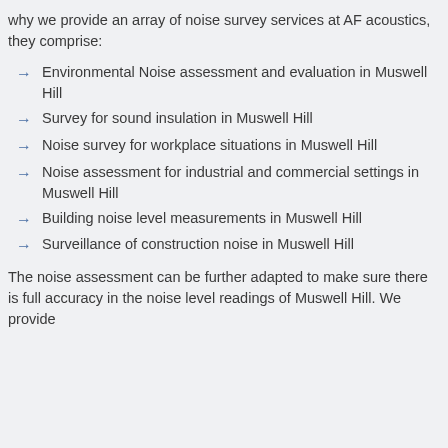why we provide an array of noise survey services at AF acoustics, they comprise:
Environmental Noise assessment and evaluation in Muswell Hill
Survey for sound insulation in Muswell Hill
Noise survey for workplace situations in Muswell Hill
Noise assessment for industrial and commercial settings in Muswell Hill
Building noise level measurements in Muswell Hill
Surveillance of construction noise in Muswell Hill
The noise assessment can be further adapted to make sure there is full accuracy in the noise level readings of Muswell Hill. We provide